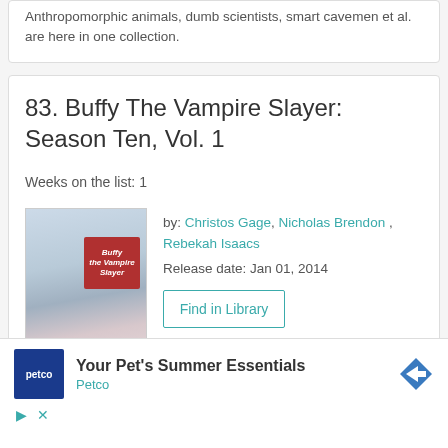Anthropomorphic animals, dumb scientists, smart cavemen et al. are here in one collection.
83. Buffy The Vampire Slayer: Season Ten, Vol. 1
Weeks on the list: 1
[Figure (illustration): Book cover of Buffy The Vampire Slayer: Season Ten, Vol. 1 showing an illustrated female character holding a stake with a red logo box]
by: Christos Gage, Nicholas Brendon, Rebekah Isaacs
Release date: Jan 01, 2014
Find in Library
Your Pet's Summer Essentials
Petco